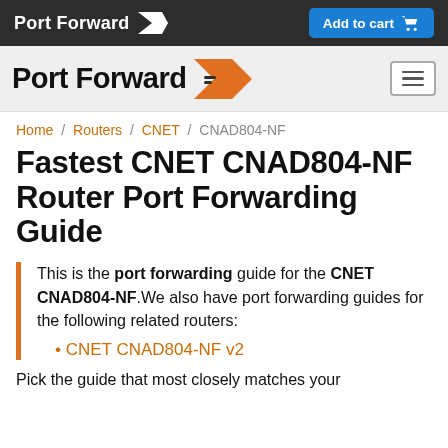Port Forward | Add to cart
[Figure (logo): Port Forward logo with orange chevron arrow on dark bar and white nav bar]
Home / Routers / CNET / CNAD804-NF
Fastest CNET CNAD804-NF Router Port Forwarding Guide
This is the port forwarding guide for the CNET CNAD804-NF.We also have port forwarding guides for the following related routers:
CNET CNAD804-NF v2
Pick the guide that most closely matches your